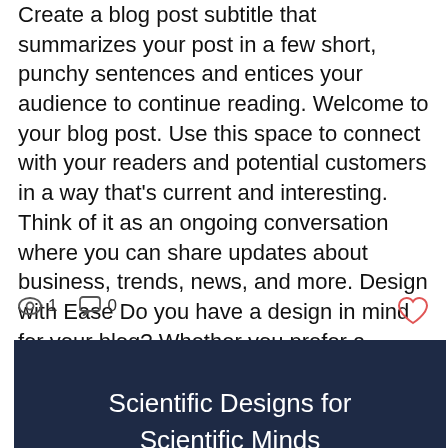Create a blog post subtitle that summarizes your post in a few short, punchy sentences and entices your audience to continue reading. Welcome to your blog post. Use this space to connect with your readers and potential customers in a way that's current and interesting. Think of it as an ongoing conversation where you can share updates about business, trends, news, and more. Design with Ease Do you have a design in mind for your blog? Whether you prefer a trendy postcard look
views: 1, comments: 0, likes: heart icon
Scientific Designs for Scientific Minds
Call 844 - MD HIGH 5